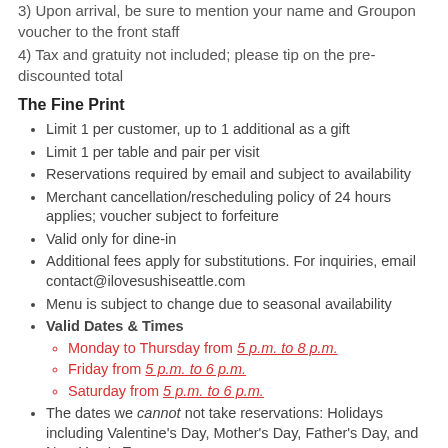3) Upon arrival, be sure to mention your name and Groupon voucher to the front staff
4) Tax and gratuity not included; please tip on the pre-discounted total
The Fine Print
Limit 1 per customer, up to 1 additional as a gift
Limit 1 per table and pair per visit
Reservations required by email and subject to availability
Merchant cancellation/rescheduling policy of 24 hours applies; voucher subject to forfeiture
Valid only for dine-in
Additional fees apply for substitutions. For inquiries, email contact@ilovesushiseattle.com
Menu is subject to change due to seasonal availability
Valid Dates & Times
Monday to Thursday from 5 p.m. to 8 p.m.
Friday from 5 p.m. to 6 p.m.
Saturday from 5 p.m. to 6 p.m.
The dates we cannot not take reservations: Holidays including Valentine's Day, Mother's Day, Father's Day, and New Year's Eve.